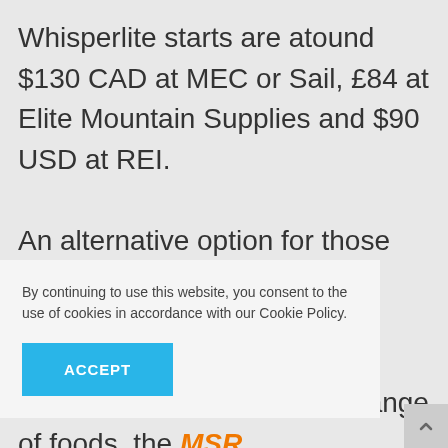Whisperlite starts are atound $130 CAD at MEC or Sail, £84 at Elite Mountain Supplies and $90 USD at REI.

An alternative option for those that like to be able to control their cooking flame or are looking for a stove that is capable of cooking a wider range of foods, the MSR ...a ...led ...ensive, ...120 at
By continuing to use this website, you consent to the use of cookies in accordance with our Cookie Policy.
ACCEPT